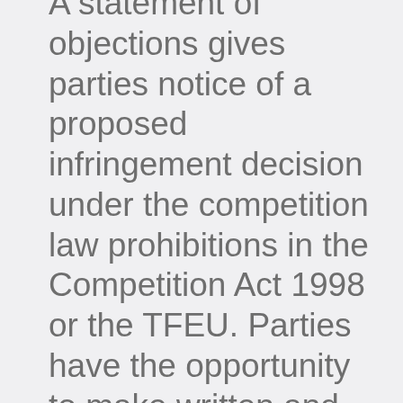A statement of objections gives parties notice of a proposed infringement decision under the competition law prohibitions in the Competition Act 1998 or the TFEU. Parties have the opportunity to make written and oral representations on the matters set out in the statement of objections. Any such representations will be considered by the CMA before any final decision is made. The final decision is taken by a 3-member case decision group, which is separate from the case investigation team and was not involved in the decision to issue the